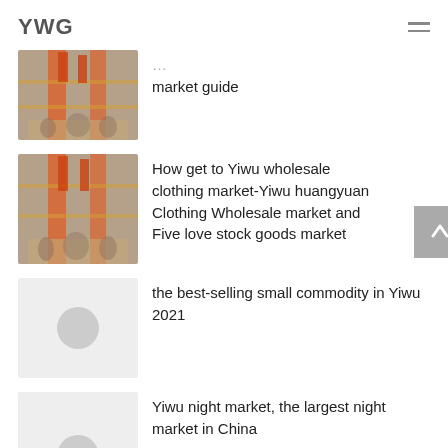YWG
[Figure (photo): Yiwu wholesale market interior with red banners and shoppers]
market guide
[Figure (photo): Yiwu wholesale market interior with red banners and shoppers]
How get to Yiwu wholesale clothing market-Yiwu huangyuan Clothing Wholesale market and Five love stock goods market
[Figure (photo): Placeholder image with circle]
the best-selling small commodity in Yiwu 2021
[Figure (photo): Placeholder image with circle]
Yiwu night market, the largest night market in China